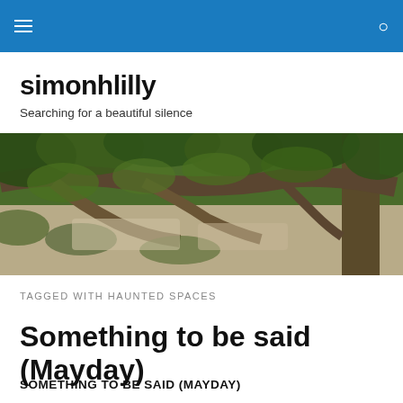simonhlilly [navigation bar with hamburger menu and search icon]
simonhlilly
Searching for a beautiful silence
[Figure (photo): Landscape photo of gnarled tree branches with green foliage against a bright background, dense woodland scene]
TAGGED WITH HAUNTED SPACES
Something to be said (Mayday)
SOMETHING TO BE SAID (MAYDAY)